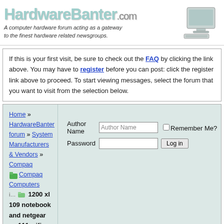[Figure (logo): HardwareBanter.com logo with computer monitor graphic and italic subtitle]
If this is your first visit, be sure to check out the FAQ by clicking the link above. You may have to register before you can post: click the register link above to proceed. To start viewing messages, select the forum that you want to visit from the selection below.
Home » HardwareBanter forum » System Manufacturers & Vendors » Compaq Computers
1200 xl 109 notebook and netgear wg111 wifi adapter
Site Map  Home  Register  Authors List  Today's Posts  Search  Web Partners